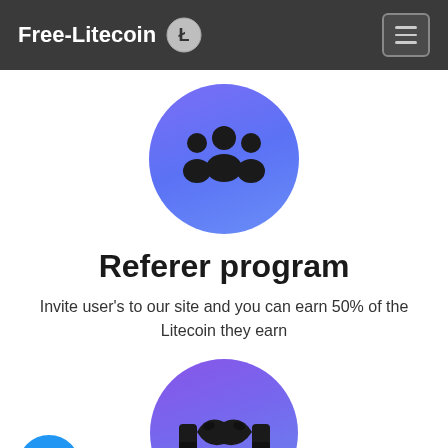Free-Litecoin
[Figure (illustration): Purple gradient circle with group of people icon (referral/community symbol)]
Referer program
Invite user's to our site and you can earn 50% of the Litecoin they earn
[Figure (illustration): Purple gradient circle with handshake icon (partnership/fair symbol)]
Fair & Secure